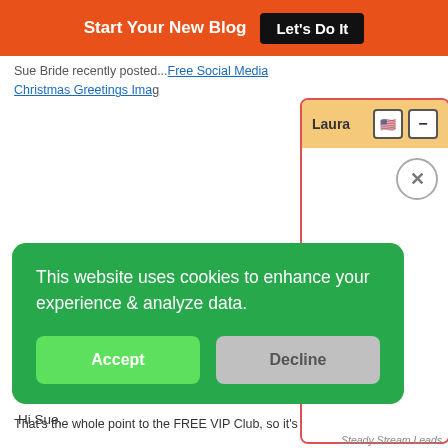Start Your New Blog  Let's Do It
Sue Bride recently posted...Free Social Media Christmas Greetings Images
[Figure (screenshot): Laura chat popup window with orange/yellow header, close button (x in circle), US flag icon and minus button]
Hi Sue,
You're so r... valuable co...
[Figure (screenshot): Green cookie consent banner with text 'This website uses cookies to enhance your experience & analyze data.' with Accept and Decline buttons]
That's the whole point to the FREE VIP Club, so it's pretty
Steady Stream Leads